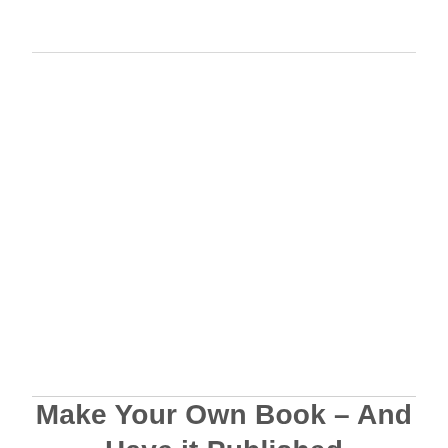Make Your Own Book – And Have it Published